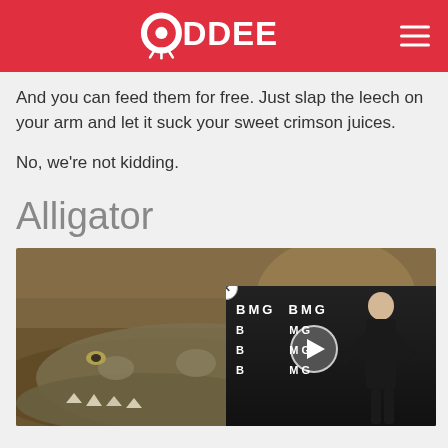ODDEE
And you can feed them for free. Just slap the leech on your arm and let it suck your sweet crimson juices.
No, we're not kidding.
Alligator
[Figure (photo): Close-up photo of an alligator's face showing teeth, with a video overlay in the bottom right corner showing a woman at a BMG event with a play button.]